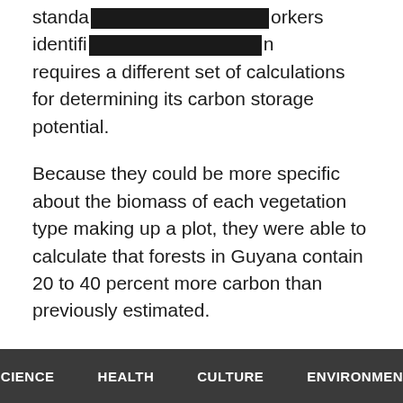standa[REDACTED]orkers identifi[REDACTED]n requires a different set of calculations for determining its carbon storage potential.
Because they could be more specific about the biomass of each vegetation type making up a plot, they were able to calculate that forests in Guyana contain 20 to 40 percent more carbon than previously estimated.
The difference can affect a number of different areas.
[related]
For one, it means that climate models that include
SCIENCE   HEALTH   CULTURE   ENVIRONMENT